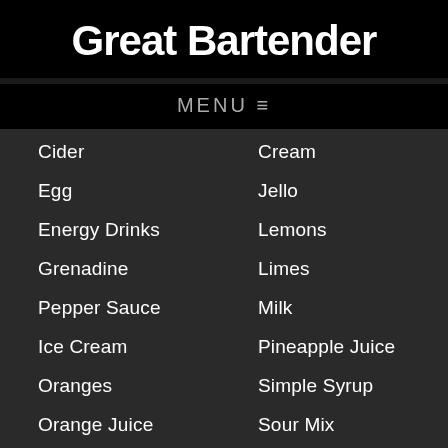Great Bartender
MENU ≡
Cider
Cream
Egg
Jello
Energy Drinks
Lemons
Grenadine
Limes
Pepper Sauce
Milk
Ice Cream
Pineapple Juice
Oranges
Simple Syrup
Orange Juice
Sour Mix
Salt
Tea